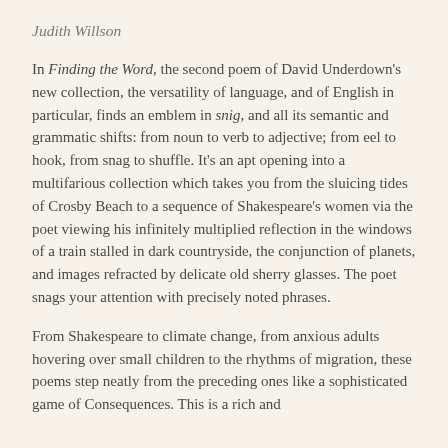Judith Willson
In Finding the Word, the second poem of David Underdown's new collection, the versatility of language, and of English in particular, finds an emblem in snig, and all its semantic and grammatic shifts: from noun to verb to adjective; from eel to hook, from snag to shuffle. It's an apt opening into a multifarious collection which takes you from the sluicing tides of Crosby Beach to a sequence of Shakespeare's women via the poet viewing his infinitely multiplied reflection in the windows of a train stalled in dark countryside, the conjunction of planets, and images refracted by delicate old sherry glasses. The poet snags your attention with precisely noted phrases.
From Shakespeare to climate change, from anxious adults hovering over small children to the rhythms of migration, these poems step neatly from the preceding ones like a sophisticated game of Consequences. This is a rich and